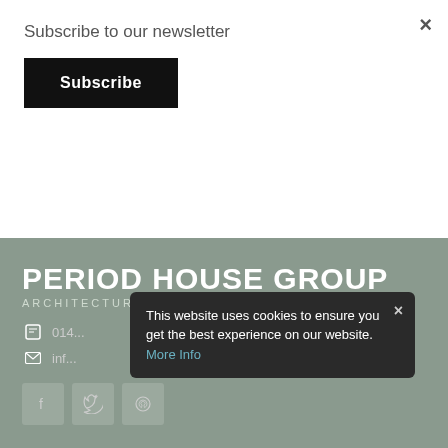Subscribe to our newsletter
Subscribe
preserve the look of the product. Suitable for internal and external use
PERIOD HOUSE GROUP
ARCHITECTURAL PERIOD IRONMONGERY
014...
inf...
This website uses cookies to ensure you get the best experience on our website. More Info